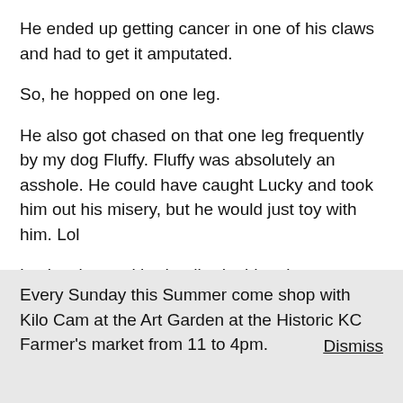He ended up getting cancer in one of his claws and had to get it amputated.
So, he hopped on one leg.
He also got chased on that one leg frequently by my dog Fluffy. Fluffy was absolutely an asshole. He could have caught Lucky and took him out his misery, but he would just toy with him. Lol
Lucky also cockle-doodle-doo'd at the wrong time.
Every Sunday this Summer come shop with Kilo Cam at the Art Garden at the Historic KC Farmer's market from 11 to 4pm.
Dismiss